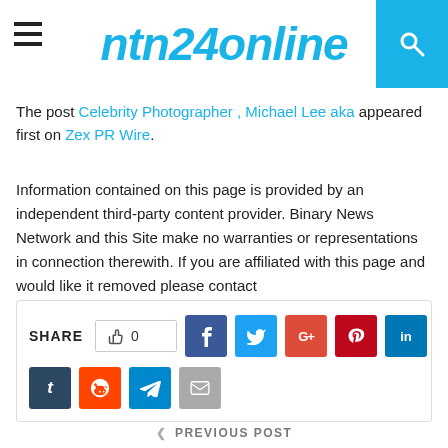ntn24online
The post Celebrity Photographer , Michael Lee aka appeared first on Zex PR Wire.
Information contained on this page is provided by an independent third-party content provider. Binary News Network and this Site make no warranties or representations in connection therewith. If you are affiliated with this page and would like it removed please contact contact@binarynewsnetwork.com
[Figure (infographic): Share bar with like button (0 likes), Facebook, Twitter, Google+, Pinterest, LinkedIn buttons in row 1; Tumblr, Reddit, Telegram, Email buttons in row 2]
< PREVIOUS POST